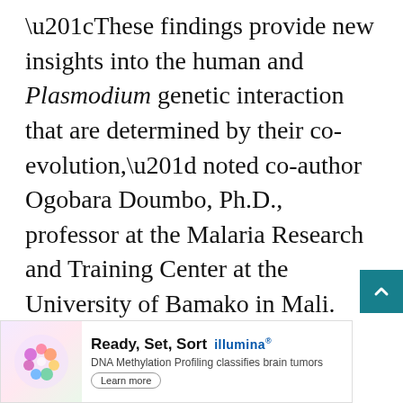“These findings provide new insights into the human and Plasmodium genetic interaction that are determined by their co-evolution,” noted co-author Ogobara Doumbo, Ph.D., professor at the Malaria Research and Training Center at the University of Bamako in Mali. “How these findings could be used in public health settings, as a marker of individual and population risk of malaria infection is the next step. Applying the findings in this way will only be possible by training a critical mass of African scientists in genomics and big d…
[Figure (other): Advertisement banner for Illumina: 'Ready, Set, Sort' — DNA Methylation Profiling classifies brain tumors. Features a colorful brain illustration and a Learn more button.]